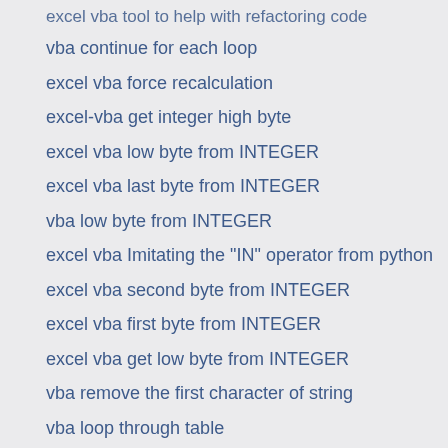excel vba tool to help with refactoring code
vba continue for each loop
excel vba force recalculation
excel-vba get integer high byte
excel vba low byte from INTEGER
excel vba last byte from INTEGER
vba low byte from INTEGER
excel vba Imitating the "IN" operator from python
excel vba second byte from INTEGER
excel vba first byte from INTEGER
excel vba get low byte from INTEGER
vba remove the first character of string
vba loop through table
excel vba convert text YYYYMMDD to date